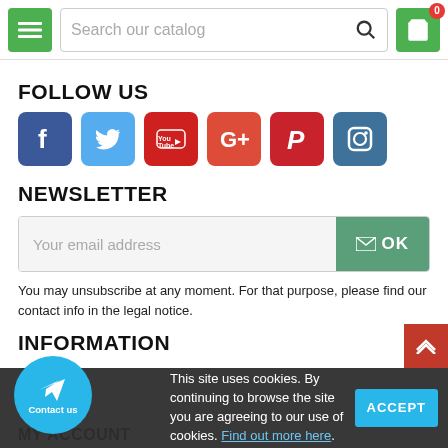Search our catalog | Cart (0)
FOLLOW US
[Figure (infographic): Social media icons: Facebook, Twitter, YouTube, Google+, Pinterest, Instagram]
NEWSLETTER
Your email address | OK
You may unsubscribe at any moment. For that purpose, please find our contact info in the legal notice.
INFORMATION
This site uses cookies. By continuing to browse the site you are agreeing to our use of cookies. Find out more here.
MY ACCOUNT